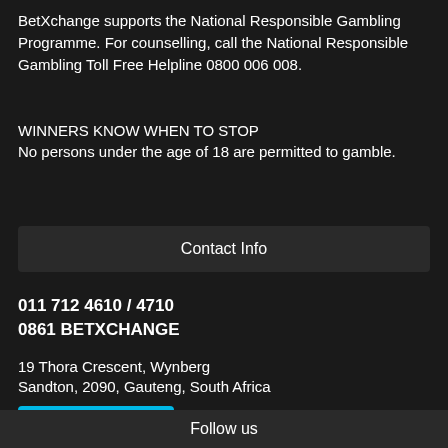BetXchange supports the National Responsible Gambling Programme. For counselling, call the National Responsible Gambling Toll Free Helpline 0800 006 008.
WINNERS KNOW WHEN TO STOP
No persons under the age of 18 are permitted to gamble.
Contact Info
011 712 4610 / 4710
0861 BETXCHANGE
19 Thora Crescent, Wynberg
Sandton, 2090, Gauteng, South Africa
Contact Us →
Follow us